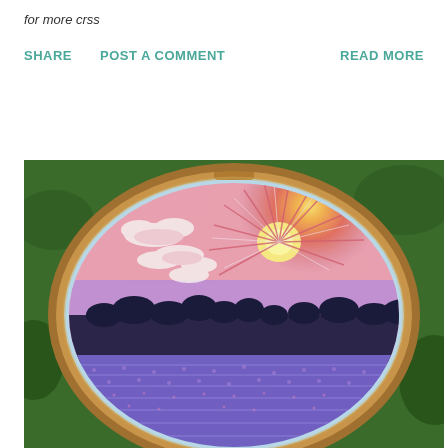for more crss
SHARE   POST A COMMENT   READ MORE
[Figure (photo): An embroidery hoop containing a needle-stitched landscape scene: a purple lavender field under a dramatic sunset sky with radiating sun rays, clouds, and dark tree silhouettes along the horizon. The hoop has a wooden frame and light blue felt border, photographed against green foliage background.]